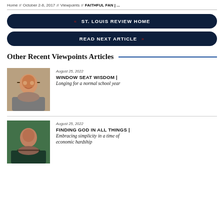Home // October 2-8, 2017 // Viewpoints // FAITHFUL FAN | ...
« ST. LOUIS REVIEW HOME
READ NEXT ARTICLE »
Other Recent Viewpoints Articles
August 25, 2022
WINDOW SEAT WISDOM | Longing for a normal school year
[Figure (photo): Portrait of a smiling woman with red hair wearing glasses and a gray top]
August 25, 2022
FINDING GOD IN ALL THINGS | Embracing simplicity in a time of economic hardship
[Figure (photo): Portrait of a woman with dark hair against an outdoor background]